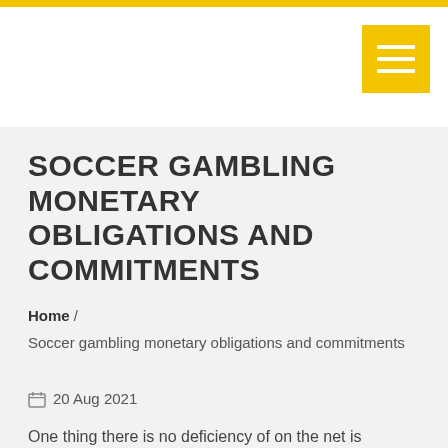SOCCER GAMBLING MONETARY OBLIGATIONS AND COMMITMENTS
Home / Soccer gambling monetary obligations and commitments
20 Aug 2021
One thing there is no deficiency of on the net is